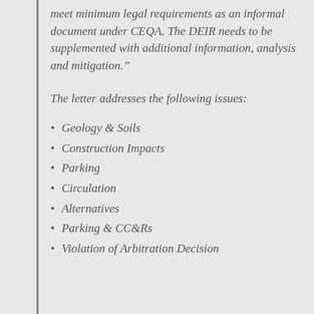meet minimum legal requirements as an informal document under CEQA. The DEIR needs to be supplemented with additional information, analysis and mitigation.”
The letter addresses the following issues:
Geology & Soils
Construction Impacts
Parking
Circulation
Alternatives
Parking & CC&Rs
Violation of Arbitration Decision